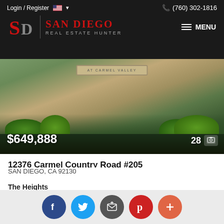Login / Register  (760) 302-1816
[Figure (logo): San Diego Real Estate Hunter logo with SD monogram in red/grey and red text, on black background, with MENU hamburger button]
[Figure (photo): Exterior photo of The Heights at Carmel Valley property entrance with landscaping and sign. Price overlay: $649,888. Photo count: 28.]
12376 Carmel Country Road #205
SAN DIEGO, CA 92130
The Heights
1 Beds  1 Baths  800 Sq.Ft.
Corcoran Global Living
[Figure (infographic): Social sharing buttons: Facebook (blue), Twitter (light blue), Email (dark grey), Pinterest (red), Plus/More (orange-red)]